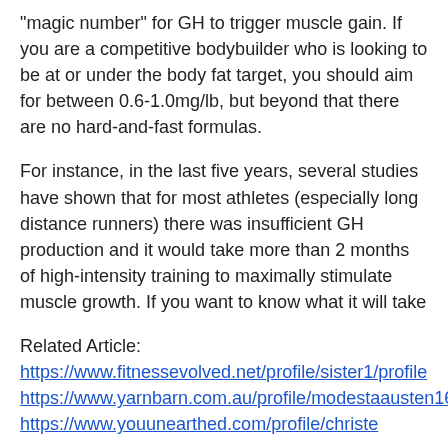"magic number" for GH to trigger muscle gain. If you are a competitive bodybuilder who is looking to be at or under the body fat target, you should aim for between 0.6-1.0mg/lb, but beyond that there are no hard-and-fast formulas.
For instance, in the last five years, several studies have shown that for most athletes (especially long distance runners) there was insufficient GH production and it would take more than 2 months of high-intensity training to maximally stimulate muscle growth. If you want to know what it will take
Related Article:
https://www.fitnessevolved.net/profile/sister1/profile
https://www.yarnbarn.com.au/profile/modestaausten1631420/profile
https://www.youunearthed.com/profile/christe